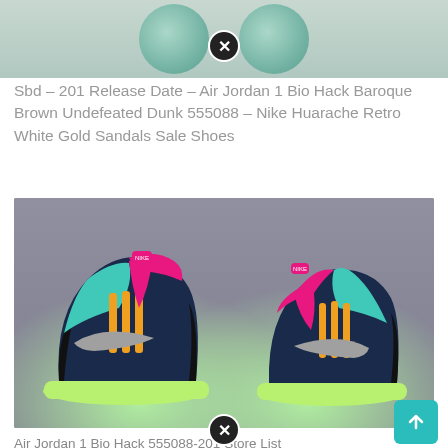[Figure (photo): Partial top image showing two circular shoe sole views with teal/green color, partially cropped at top of page. A close/dismiss button overlay is visible.]
Sbd – 201 Release Date – Air Jordan 1 Bio Hack Baroque Brown Undefeated Dunk 555088 – Nike Huarache Retro White Gold Sandals Sale Shoes
[Figure (photo): Photo of two Air Jordan 1 Bio Hack sneakers facing each other. The shoes feature dark navy/black upper, teal toe box, pink/magenta collar, yellow accents, grey swoosh, and bright lime green midsole on a grey textured floor background.]
Air Jordan 1 Bio Hack 555088-201 Store List Sneakernewscom